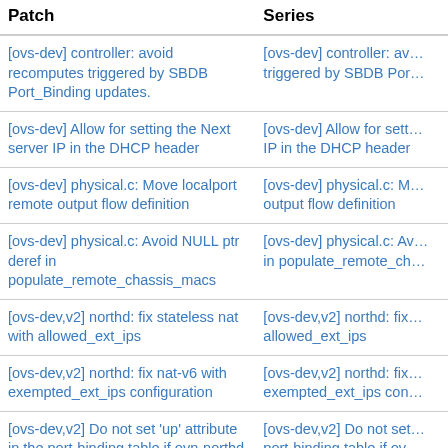| Patch | Series |
| --- | --- |
| [ovs-dev] controller: avoid recomputes triggered by SBDB Port_Binding updates. | [ovs-dev] controller: avoid recomputes triggered by SBDB Port_Binding updates. |
| [ovs-dev] Allow for setting the Next server IP in the DHCP header | [ovs-dev] Allow for setting the Next server IP in the DHCP header |
| [ovs-dev] physical.c: Move localport remote output flow definition | [ovs-dev] physical.c: Move localport remote output flow definition |
| [ovs-dev] physical.c: Avoid NULL ptr deref in populate_remote_chassis_macs | [ovs-dev] physical.c: Avoid NULL ptr deref in populate_remote_chassis_macs |
| [ovs-dev,v2] northd: fix stateless nat with allowed_ext_ips | [ovs-dev,v2] northd: fix stateless nat with allowed_ext_ips |
| [ovs-dev,v2] northd: fix nat-v6 with exempted_ext_ips configuration | [ovs-dev,v2] northd: fix nat-v6 with exempted_ext_ips configuration |
| [ovs-dev,v2] Do not set 'up' attribute in the port-binding table if ovn-northd is at an older versi... | [ovs-dev,v2] Do not set 'up' attribute in the port-binding table if ovn-northd is at an older versi... |
| [ovs-dev,v1] Do not set 'up' attribute in the port-binding table if ovn-northd is at an older versi... | [ovs-dev,v1] Do not set 'up' attribute in the port-binding table if ovn-northd is at an older versi... |
| [ovs-dev] northd: Honor ct-snat-zone option for common case... | [ovs-dev] northd: Honor ct-snat-zone option for common case... |